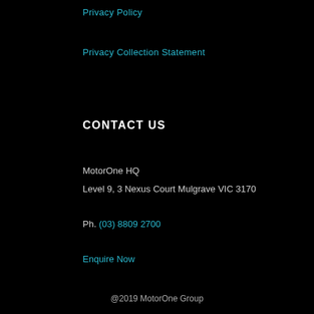Privacy Policy
Privacy Collection Statement
CONTACT US
MotorOne HQ
Level 9, 3 Nexus Court Mulgrave VIC 3170
Ph. (03) 8809 2700
Enquire Now
@2019 MotorOne Group